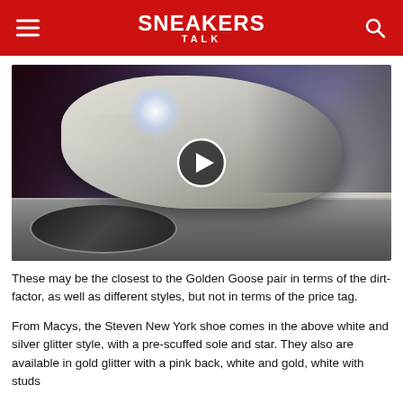SNEAKERS TALK
[Figure (photo): A sneaker balanced on a DJ turntable, shot in a dark studio environment with a bright light source in the background. A circular play button overlay is centered on the image.]
These may be the closest to the Golden Goose pair in terms of the dirt-factor, as well as different styles, but not in terms of the price tag.
From Macys, the Steven New York shoe comes in the above white and silver glitter style, with a pre-scuffed sole and star. They also are available in gold glitter with a pink back, white and gold, white with studs